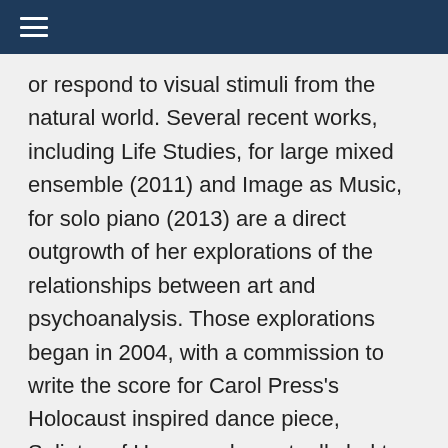≡
or respond to visual stimuli from the natural world. Several recent works, including Life Studies, for large mixed ensemble (2011) and Image as Music, for solo piano (2013) are a direct outgrowth of her explorations of the relationships between art and psychoanalysis. Those explorations began in 2004, with a commission to write the score for Carol Press's Holocaust inspired dance piece, Splinter of Hope, and eventually led to participation on multidisciplinary panel presentations on aesthetic gesture at psychoanalytical conferences in Santa Fe, Marina Del Rey, California, Mexico City, and at the Spoleto